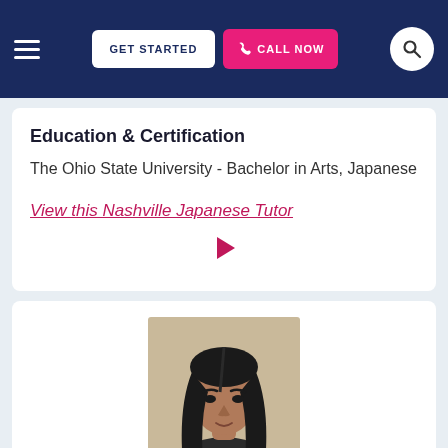GET STARTED | CALL NOW
Education & Certification
The Ohio State University - Bachelor in Arts, Japanese
View this Nashville Japanese Tutor
[Figure (photo): Play button icon (triangle)]
[Figure (photo): Tutor profile photo: person with long dark hair, light background]